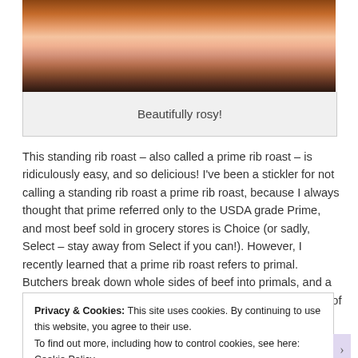[Figure (photo): Close-up photo of a standing rib roast showing pink rosy interior, partially cropped at top]
Beautifully rosy!
This standing rib roast – also called a prime rib roast – is ridiculously easy, and so delicious! I've been a stickler for not calling a standing rib roast a prime rib roast, because I always thought that prime referred only to the USDA grade Prime, and most beef sold in grocery stores is Choice (or sadly, Select – stay away from Select if you can!).  However, I recently learned that a prime rib roast refers to primal.  Butchers break down whole sides of beef into primals, and a standing rib roast is taken from the rib primal.  There are lots of
Privacy & Cookies: This site uses cookies. By continuing to use this website, you agree to their use.
To find out more, including how to control cookies, see here: Cookie Policy